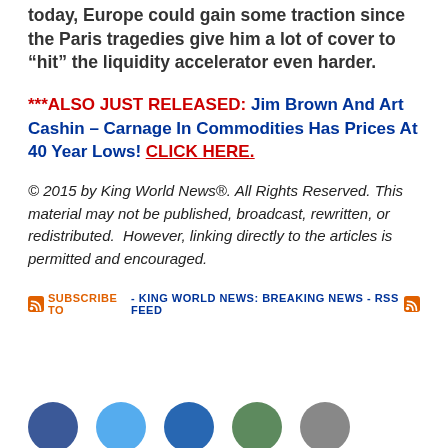today, Europe could gain some traction since the Paris tragedies give him a lot of cover to “hit” the liquidity accelerator even harder.
***ALSO JUST RELEASED: Jim Brown And Art Cashin – Carnage In Commodities Has Prices At 40 Year Lows! CLICK HERE.
© 2015 by King World News®. All Rights Reserved. This material may not be published, broadcast, rewritten, or redistributed. However, linking directly to the articles is permitted and encouraged.
SUBSCRIBE TO - KING WORLD NEWS: BREAKING NEWS - RSS FEED